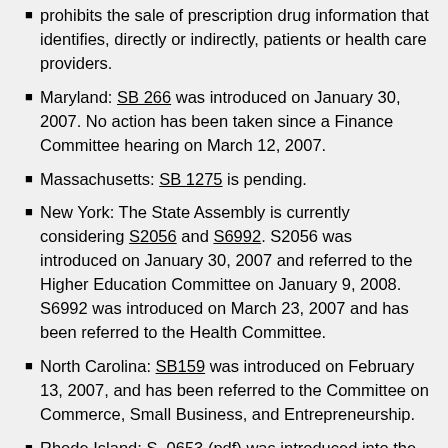prohibits the sale of prescription drug information that identifies, directly or indirectly, patients or health care providers.
Maryland: SB 266 was introduced on January 30, 2007. No action has been taken since a Finance Committee hearing on March 12, 2007.
Massachusetts: SB 1275 is pending.
New York: The State Assembly is currently considering S2056 and S6992. S2056 was introduced on January 30, 2007 and referred to the Higher Education Committee on January 9, 2008. S6992 was introduced on March 23, 2007 and has been referred to the Health Committee.
North Carolina: SB159 was introduced on February 13, 2007, and has been referred to the Committee on Commerce, Small Business, and Entrepreneurship.
Rhode Island: S. 0653 (pdf) was introduced into the General Assembly during the January session. The bill was referred